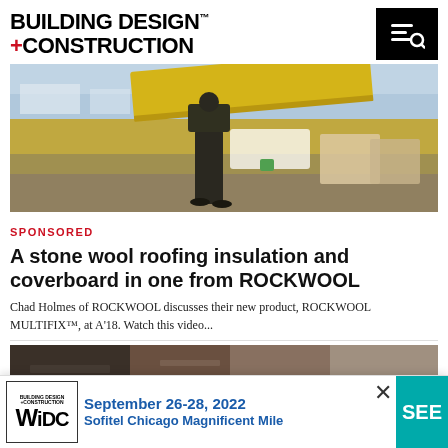BUILDING DESIGN +CONSTRUCTION
[Figure (photo): Construction worker on a rooftop carrying a large yellow stone wool insulation board, with white material bags and pallets visible in the background under a partly cloudy sky.]
SPONSORED
A stone wool roofing insulation and coverboard in one from ROCKWOOL
Chad Holmes of ROCKWOOL discusses their new product, ROCKWOOL MULTIFIX™, at A'18. Watch this video...
[Figure (photo): Partial view of a second article image showing construction/roofing materials, partially obscured by a promotional popup banner at the bottom.]
[Figure (screenshot): Popup banner advertisement for Building Design+Construction WiDC event: September 26-28, 2022, Sofitel Chicago Magnificent Mile. Features WiDC logo, event dates, location text, a close (X) button, and a teal 'SEE' button on the right.]